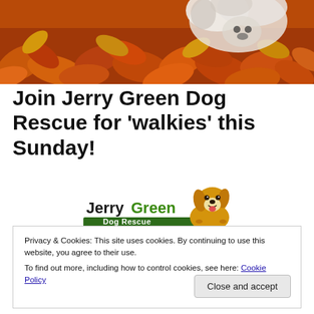[Figure (photo): Photo of a white dog sitting among autumn red and orange fallen leaves]
Join Jerry Green Dog Rescue for ‘walkies’ this Sunday!
[Figure (logo): Jerry Green Dog Rescue logo — text 'Jerry Green Dog Rescue' with a cartoon golden cocker spaniel dog peeking over a green bar]
Privacy & Cookies: This site uses cookies. By continuing to use this website, you agree to their use.
To find out more, including how to control cookies, see here: Cookie Policy
Close and accept